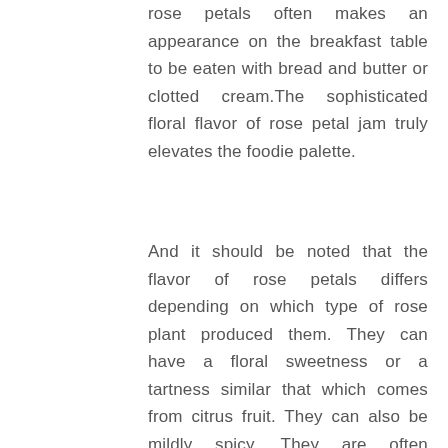rose petals often makes an appearance on the breakfast table to be eaten with bread and butter or clotted cream.The sophisticated floral flavor of rose petal jam truly elevates the foodie palette.
And it should be noted that the flavor of rose petals differs depending on which type of rose plant produced them. They can have a floral sweetness or a tartness similar that which comes from citrus fruit. They can also be mildly spicy. They are often intensely aromatic, which is the quality